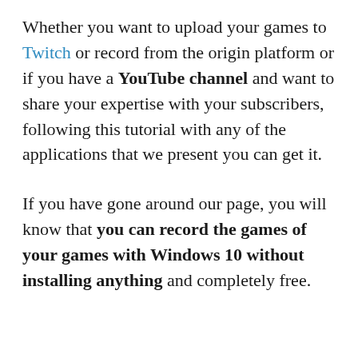Whether you want to upload your games to Twitch or record from the origin platform or if you have a YouTube channel and want to share your expertise with your subscribers, following this tutorial with any of the applications that we present you can get it.
If you have gone around our page, you will know that you can record the games of your games with Windows 10 without installing anything and completely free.